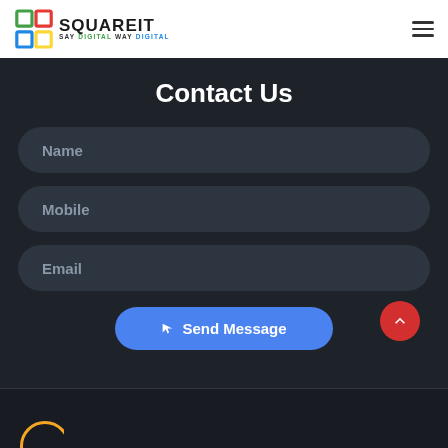[Figure (logo): SquareIT logo with colorful square icon and text 'SQUAREIT SAY DIGITAL WAY DIGITAL']
Contact Us
Name
Mobile
Email
Send Message